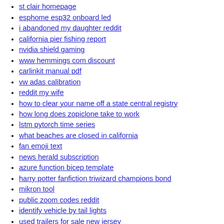tractor breakers in
st clair homepage
esphome esp32 onboard led
i abandoned my daughter reddit
california pier fishing report
nvidia shield gaming
www hemmings com discount
carlinkit manual pdf
vw adas calibration
reddit my wife
how to clear your name off a state central registry
how long does zopiclone take to work
lstm pytorch time series
what beaches are closed in california
fan emoji text
news herald subscription
azure function bicep template
harry potter fanfiction triwizard champions bond
mikron tool
public zoom codes reddit
identify vehicle by tail lights
used trailers for sale new jersey
spring haven farm facebook
fuengirola fog
darth vader pet portrait
firestore swift array